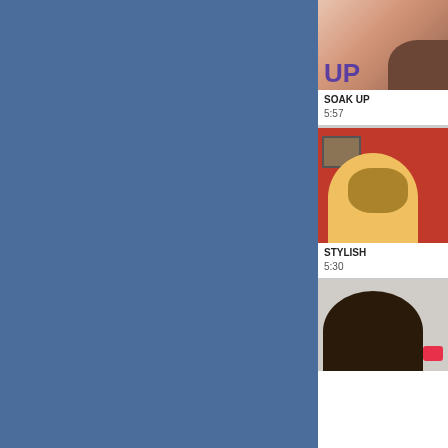[Figure (screenshot): Blue background panel occupying the left ~71% of the page]
[Figure (photo): Video thumbnail showing close-up skin/fingers image with purple text overlay 'UP']
SOAK UP
5:57
[Figure (photo): Video thumbnail showing woman in leopard-print top against red background]
STYLISH
5:30
[Figure (photo): Partial thumbnail showing person with dark hair and pink accessory]